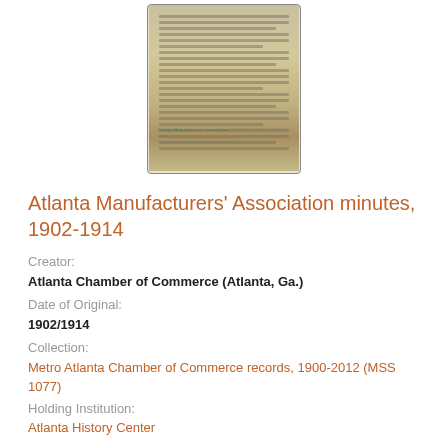[Figure (photo): Photograph of a historical handwritten/typed document page with signatures in blue ink at the bottom, aged yellowish paper]
Atlanta Manufacturers' Association minutes, 1902-1914
Creator:
Atlanta Chamber of Commerce (Atlanta, Ga.)
Date of Original:
1902/1914
Collection:
Metro Atlanta Chamber of Commerce records, 1900-2012 (MSS 1077)
Holding Institution:
Atlanta History Center